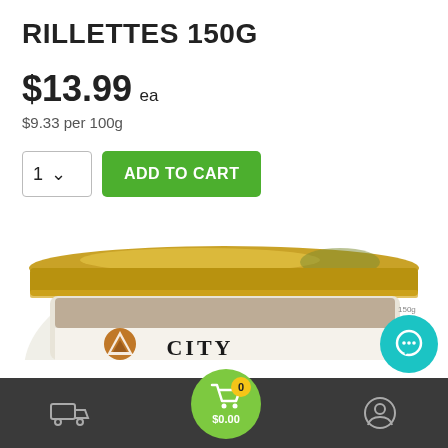RILLETTES 150G
$13.99 ea
$9.33 per 100g
ADD TO CART
[Figure (photo): Top portion of a glass jar with gold metal lid containing rillettes, showing a white label with 'CITY' text and a triangular logo]
0  $0.00